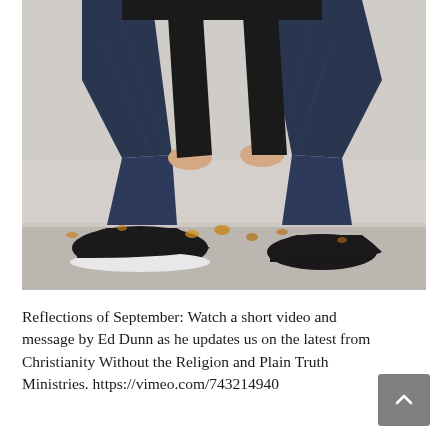[Figure (photo): A person sitting on outdoor steps, wearing dark jeans, a black top, and dark sneakers with white soles. Their hands rest on their knees. Autumn leaves are visible near the base of the steps.]
Reflections of September: Watch a short video and message by Ed Dunn as he updates us on the latest from Christianity Without the Religion and Plain Truth Ministries. https://vimeo.com/743214940